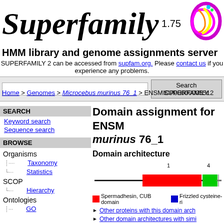Superfamily 1.75
HMM library and genome assignments server
SUPERFAMILY 2 can be accessed from supfam.org. Please contact us if you experience any problems.
Domain assignment for ENSM... murinus 76_1
Domain architecture
[Figure (schematic): Domain architecture diagram showing a protein sequence line with a large red Spermadhesin CUB domain block and a smaller green block at the right end. Numbers 1 and 4 appear above. Legend: red=Spermadhesin CUB domain, blue=Frizzled cysteine-ri...]
Other proteins with this domain arch...
Other domain architectures with simi...
See the phylogenetic distribution for...